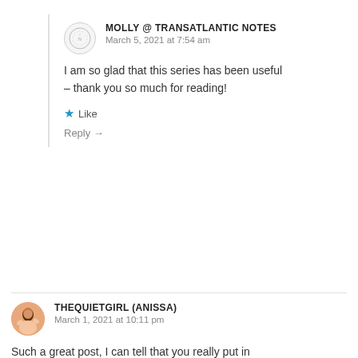MOLLY @ TRANSATLANTIC NOTES
March 5, 2021 at 7:54 am
I am so glad that this series has been useful – thank you so much for reading!
Like
Reply →
THEQUIETGIRL (ANISSA)
March 1, 2021 at 10:11 pm
Such a great post, I can tell that you really put in the research for this post. I like that you dedicated